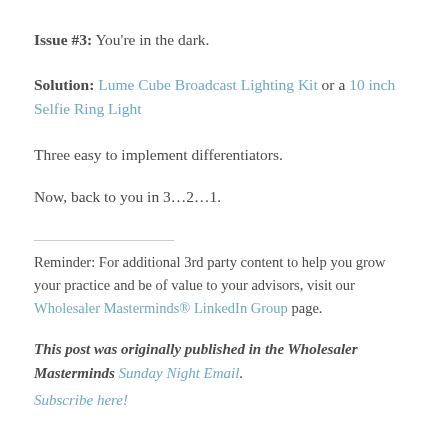Issue #3: You're in the dark.
Solution: Lume Cube Broadcast Lighting Kit or a 10 inch Selfie Ring Light
Three easy to implement differentiators.
Now, back to you in 3...2...1.
Reminder: For additional 3rd party content to help you grow your practice and be of value to your advisors, visit our Wholesaler Masterminds® LinkedIn Group page.
This post was originally published in the Wholesaler Masterminds Sunday Night Email.
Subscribe here!